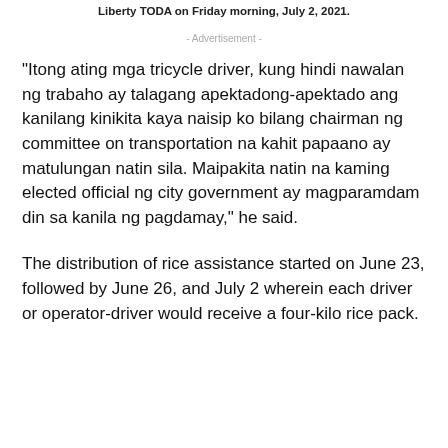Liberty TODA on Friday morning, July 2, 2021.
- Advertisement -
“Itong ating mga tricycle driver, kung hindi nawalan ng trabaho ay talagang apektadong-apektado ang kanilang kinikita kaya naisip ko bilang chairman ng committee on transportation na kahit papaano ay matulungan natin sila. Maipakita natin na kaming elected official ng city government ay magparamdam din sa kanila ng pagdamay,” he said.
The distribution of rice assistance started on June 23, followed by June 26, and July 2 wherein each driver or operator-driver would receive a four-kilo rice pack.